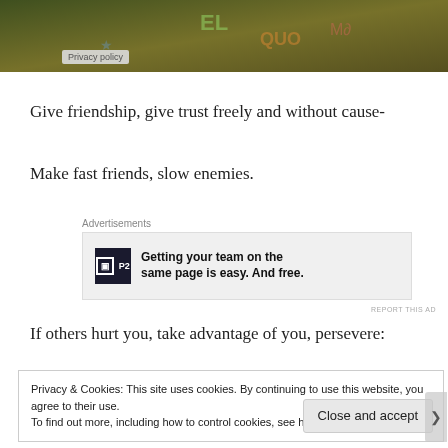[Figure (photo): Colorful graffiti-style background image in dark greens and yellows]
Privacy policy
Give friendship, give trust freely and without cause-
Make fast friends, slow enemies.
Advertisements
[Figure (screenshot): Advertisement for P2: Getting your team on the same page is easy. And free.]
REPORT THIS AD
If others hurt you, take advantage of you, persevere:
Privacy & Cookies: This site uses cookies. By continuing to use this website, you agree to their use. To find out more, including how to control cookies, see here: Cookie Policy